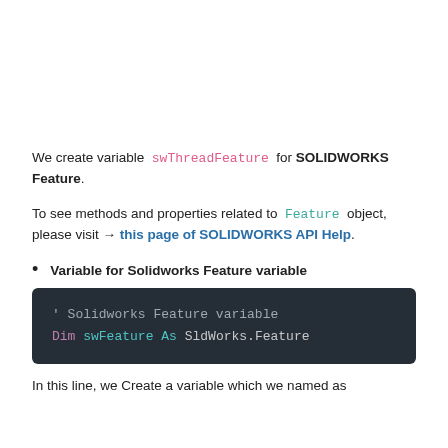We create variable swThreadFeature for SOLIDWORKS Feature.
To see methods and properties related to Feature object, please visit → this page of SOLIDWORKS API Help.
Variable for Solidworks Feature variable
' Solidworks Feature variable
Dim swFeature As SldWorks.Feature
In this line, we Create a variable which we named as